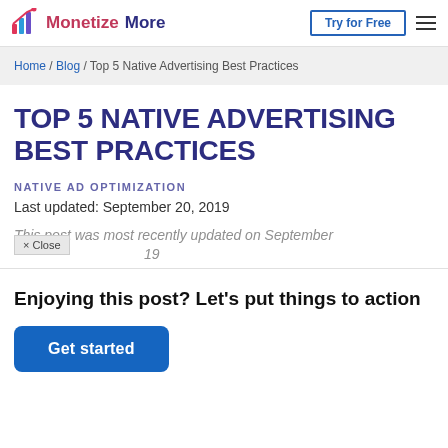MonetizeMore | Try for Free | menu
Home / Blog / Top 5 Native Advertising Best Practices
TOP 5 NATIVE ADVERTISING BEST PRACTICES
NATIVE AD OPTIMIZATION
Last updated: September 20, 2019
This post was most recently updated on September 19
× Close
Enjoying this post? Let's put things to action
Get started